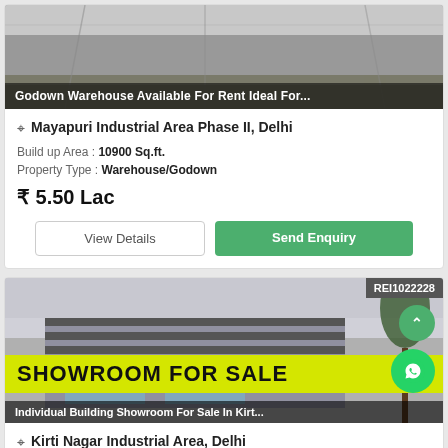[Figure (photo): Interior of a warehouse/godown with high ceiling and empty floor]
Godown Warehouse Available For Rent Ideal For...
Mayapuri Industrial Area Phase II, Delhi
Build up Area : 10900 Sq.ft.
Property Type : Warehouse/Godown
₹ 5.50 Lac
View Details
Send Enquiry
[Figure (photo): Exterior of a showroom building with SHOWROOM FOR SALE banner and REI1022228 badge]
Individual Building Showroom For Sale In Kirt...
Kirti Nagar Industrial Area, Delhi